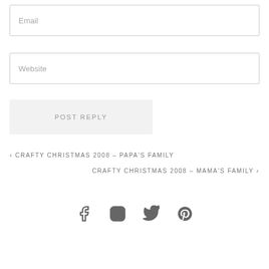Email
Website
POST REPLY
< CRAFTY CHRISTMAS 2008 – PAPA'S FAMILY
CRAFTY CHRISTMAS 2008 – MAMA'S FAMILY >
[Figure (other): Social media icons: Facebook, Instagram, Twitter, Pinterest]